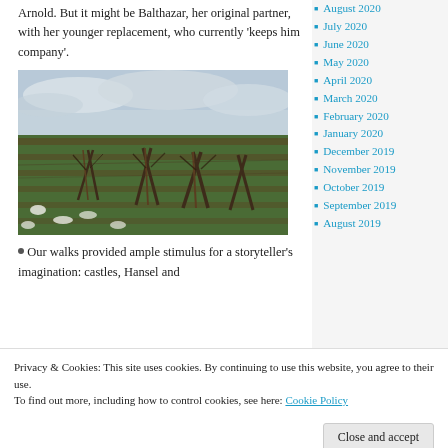Arnold. But it might be Balthazar, her original partner, with her younger replacement, who currently 'keeps him company'.
[Figure (photo): A vineyard with rows of bare-branched vines staked with wooden posts, low white wildflowers growing between the rows, under an overcast sky.]
Our walks provided ample stimulus for a storyteller's imagination: castles, Hansel and
August 2020
July 2020
June 2020
May 2020
April 2020
March 2020
February 2020
January 2020
December 2019
November 2019
October 2019
September 2019
August 2019
Privacy & Cookies: This site uses cookies. By continuing to use this website, you agree to their use.
To find out more, including how to control cookies, see here: Cookie Policy
Close and accept